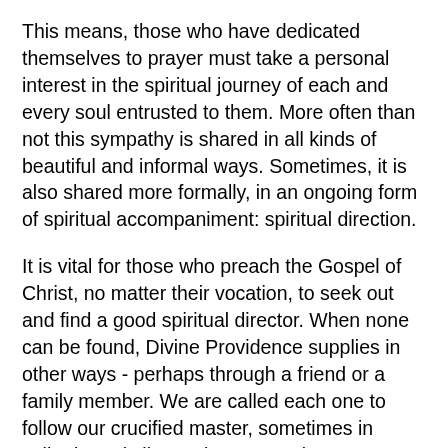This means, those who have dedicated themselves to prayer must take a personal interest in the spiritual journey of each and every soul entrusted to them.  More often than not this sympathy is shared in all kinds of beautiful and informal ways.  Sometimes, it is also shared more formally, in an ongoing form of spiritual accompaniment: spiritual direction.
It is vital for those who preach the Gospel of Christ, no matter their vocation, to seek out and find a good spiritual director.  When none can be found, Divine Providence supplies in other ways - perhaps through a friend or a family member.  We are called each one to follow our crucified master, sometimes in solitude and silence, but never alone.  We go forth in a communion of saints, of holy things exchanged between the holy ones of God.   This is why the Lord also expects us to make a good prayerful effort to seek out the guidance of someone who will hold us accountable, encourage us to spiritual maturity and help us discern the most appropriate ways to serve God in our lives.
God expects us to make this effort is because He prefers to work through those He sends to us, so that we are all bound